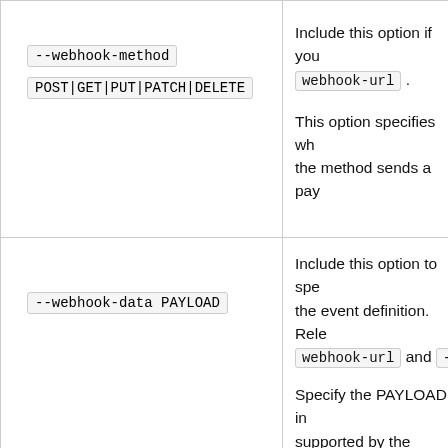| Option | Description |
| --- | --- |
| --webhook-method POST|GET|PUT|PATCH|DELETE | Include this option if you webhook-url . This option specifies wh the method sends a pay |
| --webhook-data PAYLOAD | Include this option to spe the event definition. Rele webhook-url and -- Specify the PAYLOAD in supported by the extern string by specifying the For example: --webho |